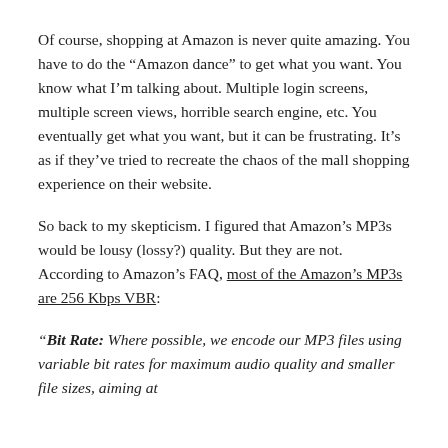Of course, shopping at Amazon is never quite amazing. You have to do the “Amazon dance” to get what you want. You know what I’m talking about. Multiple login screens, multiple screen views, horrible search engine, etc. You eventually get what you want, but it can be frustrating. It’s as if they’ve tried to recreate the chaos of the mall shopping experience on their website.
So back to my skepticism. I figured that Amazon’s MP3s would be lousy (lossy?) quality. But they are not. According to Amazon’s FAQ, most of the Amazon’s MP3s are 256 Kbps VBR:
“Bit Rate: Where possible, we encode our MP3 files using variable bit rates for maximum audio quality and smaller file sizes, aiming at a target of 256 kilobits per second (Kbps).